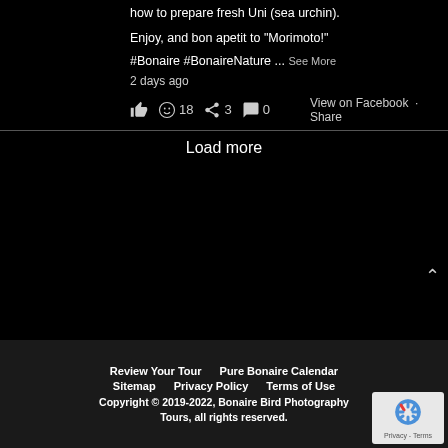...Chef "Morimoto" provides a unique take on how to prepare fresh Uni (sea urchin).
Enjoy, and bon apetit to "Morimoto!"
#Bonaire #BonaireNature ... See More
2 days ago
👍 😊 18  ➡ 3  💬 0   View on Facebook · Share
Load more
Review Your Tour   Pure Bonaire Calendar
Sitemap   Privacy Policy   Terms of Use
Copyright © 2019-2022, Bonaire Bird Photography Tours, all rights reserved.